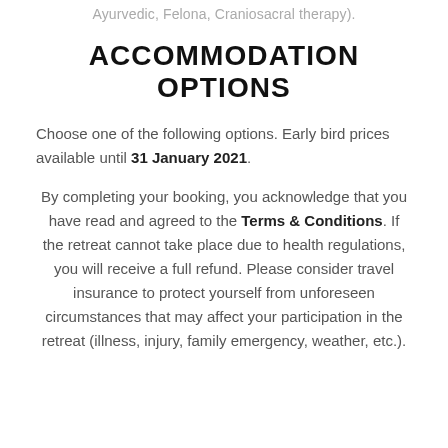Ayurvedic, Felona, Craniosacral therapy).
ACCOMMODATION OPTIONS
Choose one of the following options. Early bird prices available until 31 January 2021.
By completing your booking, you acknowledge that you have read and agreed to the Terms & Conditions. If the retreat cannot take place due to health regulations, you will receive a full refund. Please consider travel insurance to protect yourself from unforeseen circumstances that may affect your participation in the retreat (illness, injury, family emergency, weather, etc.).